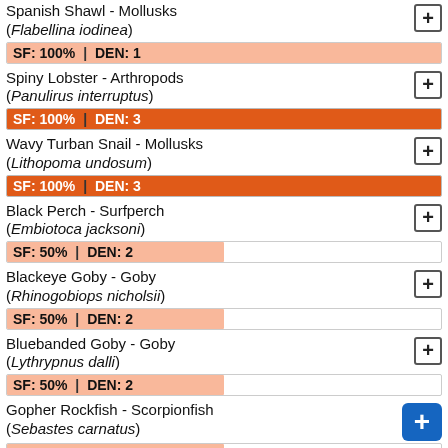Spanish Shawl - Mollusks (Flabellina iodinea)
[Figure (infographic): Progress bar: SF: 100% | DEN: 1, light salmon color, full width]
Spiny Lobster - Arthropods (Panulirus interruptus)
[Figure (infographic): Progress bar: SF: 100% | DEN: 3, dark orange color, full width]
Wavy Turban Snail - Mollusks (Lithopoma undosum)
[Figure (infographic): Progress bar: SF: 100% | DEN: 3, dark orange color, full width]
Black Perch - Surfperch (Embiotoca jacksoni)
[Figure (infographic): Progress bar: SF: 50% | DEN: 2, light salmon, half width]
Blackeye Goby - Goby (Rhinogobiops nicholsii)
[Figure (infographic): Progress bar: SF: 50% | DEN: 2, light salmon, half width]
Bluebanded Goby - Goby (Lythrypnus dalli)
[Figure (infographic): Progress bar: SF: 50% | DEN: 2, light salmon, half width]
Gopher Rockfish - Scorpionfish (Sebastes carnatus)
[Figure (infographic): Progress bar: SF: 50% | DEN: 1, light salmon, half width]